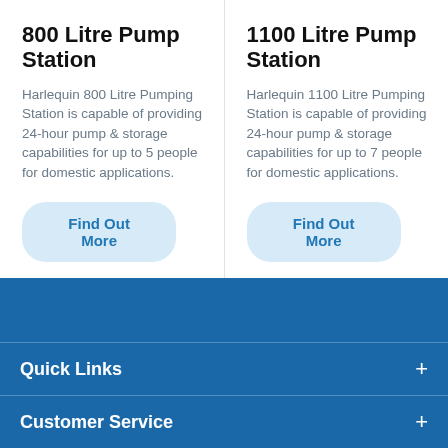800 Litre Pump Station
Harlequin 800 Litre Pumping Station is capable of providing 24-hour pump & storage capabilities for up to 5 people for domestic applications.
Find Out More
1100 Litre Pump Station
Harlequin 1100 Litre Pumping Station is capable of providing 24-hour pump & storage capabilities for up to 7 people for domestic applications.
Find Out More
Quick Links
Customer Service